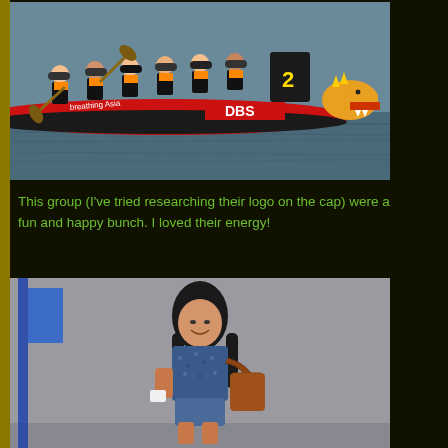[Figure (photo): A dragon boat team paddling on water. The long red and black boat has 'DBS' branding and text reading 'breathing Asia'. The dragon head is visible at the front. Crew members wear black and yellow jerseys with orange life vests and black caps. One paddle is visible with the number 2.]
This group (I've tried researching their logo on the cap) were a fun and happy bunch. I loved their energy!
[Figure (photo): A smiling woman with long black hair, wearing a blue patterned shirt, denim shorts, and carrying a large brown tote bag. She holds a small white device (phone/camera). A blue flag/banner is visible to her left on a pole. Background is grey/overcast sky.]